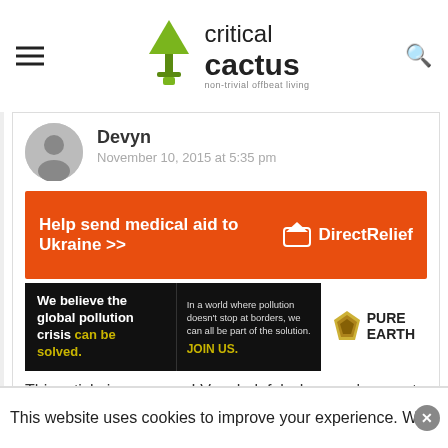critical cactus — non-trivial offbeat living
Devyn
November 10, 2015 at 5:35 pm
[Figure (other): Direct Relief advertisement banner: Help send medical aid to Ukraine >>]
[Figure (other): Pure Earth advertisement banner: We believe the global pollution crisis can be solved. In a world where pollution doesn't stop at borders, we can all be part of the solution. JOIN US.]
This article is awesome! Very helpful when you're new to the world of SUPs thank you 🙂
REPLY
This website uses cookies to improve your experience. We'll